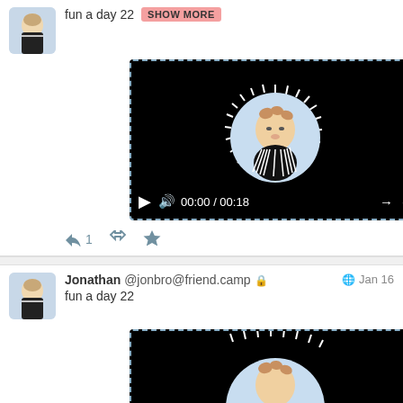fun a day 22
[Figure (screenshot): Video player showing animated character in circular frame with spiky border on black background. Controls show 00:00 / 00:18]
Jonathan @jonbro@friend.camp (locked) Jan 16
fun a day 22
[Figure (screenshot): Partial video player showing same animated character, partially visible]